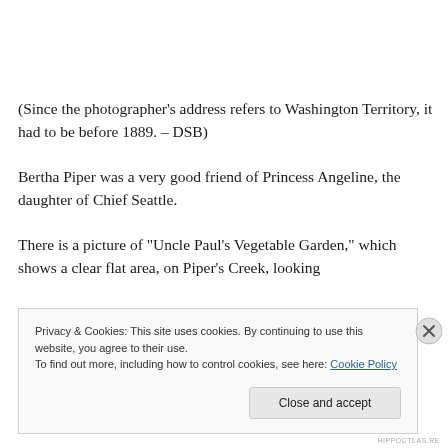(Since the photographer’s address refers to Washington Territory, it had to be before 1889. – DSB)
Bertha Piper was a very good friend of Princess Angeline, the daughter of Chief Seattle.
There is a picture of “Uncle Paul’s Vegetable Garden,” which shows a clear flat area, on Piper’s Creek, looking
Privacy & Cookies: This site uses cookies. By continuing to use this website, you agree to their use.
To find out more, including how to control cookies, see here: Cookie Policy